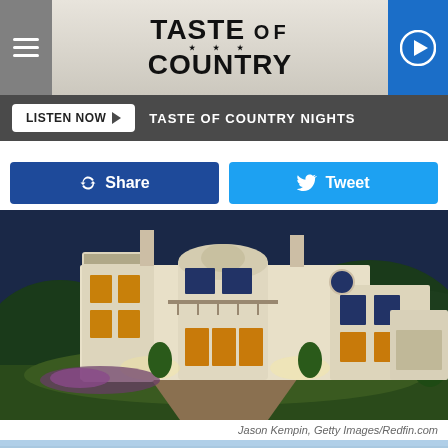TASTE OF COUNTRY
LISTEN NOW ▶  TASTE OF COUNTRY NIGHTS
Share  Tweet
[Figure (photo): Large Mediterranean-style two-story mansion photographed at dusk/night with exterior lights illuminating the white stucco facade, circular driveway, manicured lawn and flower beds, mountains in background]
Jason Kempin, Getty Images/Redfin.com
[Figure (photo): Partial view of another property photo cropped at bottom edge, showing blue sky]